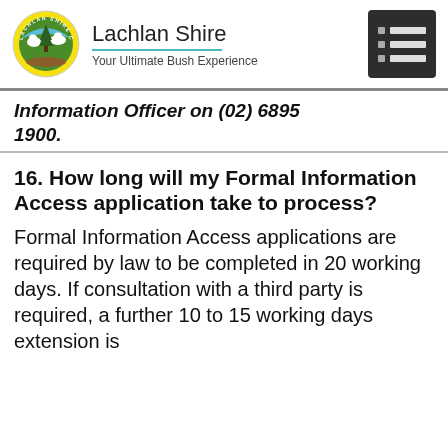[Figure (logo): Lachlan Shire Council logo with circular emblem and text 'Lachlan Shire — Your Ultimate Bush Experience', plus a dark menu icon on the right]
Information Officer on (02) 6895 1900.
16.  How long will my Formal Information Access application take to process?
Formal Information Access applications are required by law to be completed in 20 working days. If consultation with a third party is required, a further 10 to 15 working days extension is